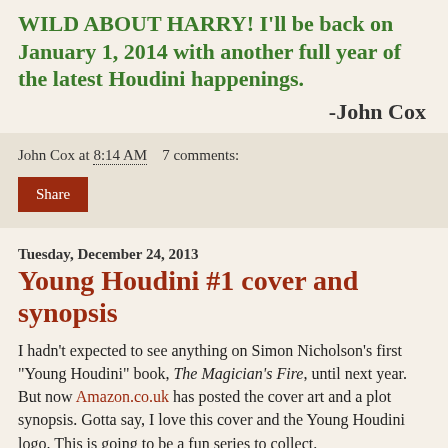WILD ABOUT HARRY! I'll be back on January 1, 2014 with another full year of the latest Houdini happenings.
-John Cox
John Cox at 8:14 AM    7 comments:
Share
Tuesday, December 24, 2013
Young Houdini #1 cover and synopsis
I hadn't expected to see anything on Simon Nicholson's first "Young Houdini" book, The Magician's Fire, until next year. But now Amazon.co.uk has posted the cover art and a plot synopsis. Gotta say, I love this cover and the Young Houdini logo. This is going to be a fun series to collect.
[Figure (photo): Book cover image showing red background with text SIMON NICHOLSON in large dark letters]